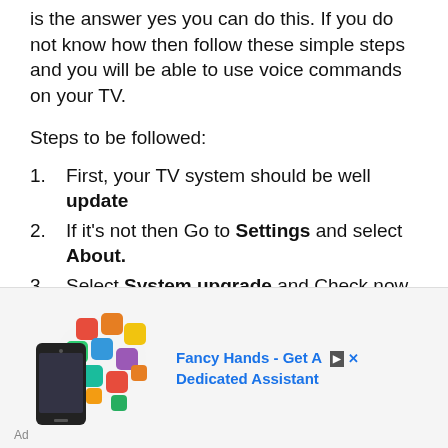is the answer yes you can do this. If you do not know how then follow these simple steps and you will be able to use voice commands on your TV.
Steps to be followed:
First, your TV system should be well update
If it's not then Go to Settings and select About.
Select System upgrade and Check now.
After that Select Download if...
[Figure (photo): Advertisement showing a smartphone surrounded by colorful app icons with text 'Fancy Hands - Get A Dedicated Assistant']
Ad